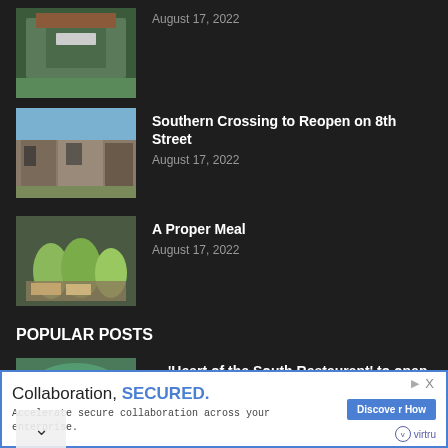August 17, 2022
[Figure (photo): Exterior photo of a building with a sign]
Southern Crossing to Reopen on 8th Street
August 17, 2022
[Figure (photo): Street-level photo of storefronts]
A Proper Meal
August 17, 2022
[Figure (photo): Photo of people in green shirts working in a kitchen/cafeteria]
POPULAR POSTS
‘Heart of the South Restaurant’ to open in former home of...
April 27, 2018
[Figure (photo): Photo of a lake or nature scene with trees]
Collaboration, SECURED. Accelerate secure collaboration across your enterprise. Discover How virtru